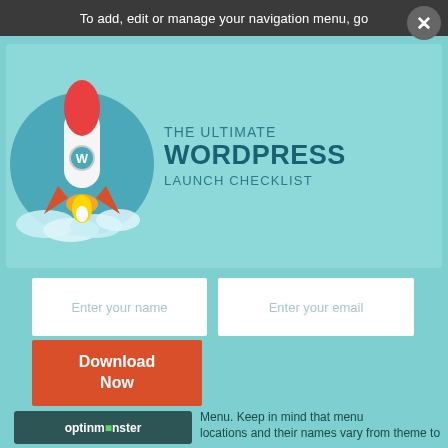To add, edit or manage your navigation menu, go
[Figure (illustration): Popup modal showing 'The Ultimate WordPress Launch Checklist' with a rocket ship illustration on a teal background]
Enter your name
Enter your email
Download Now
optinmónster
Menu. Keep in mind that menu locations and their names vary from theme to